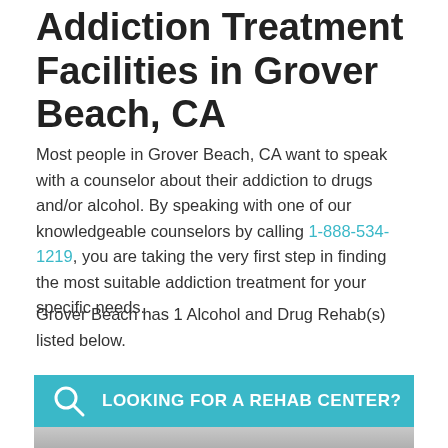Addiction Treatment Facilities in Grover Beach, CA
Most people in Grover Beach, CA want to speak with a counselor about their addiction to drugs and/or alcohol. By speaking with one of our knowledgeable counselors by calling 1-888-534-1219, you are taking the very first step in finding the most suitable addiction treatment for your specific needs.
Grover Beach has 1 Alcohol and Drug Rehab(s) listed below.
[Figure (infographic): Teal/cyan banner with a search (magnifying glass) icon and bold white uppercase text: LOOKING FOR A REHAB CENTER?]
[Figure (photo): Photo of two people wearing headsets, appearing to be call center counselors.]